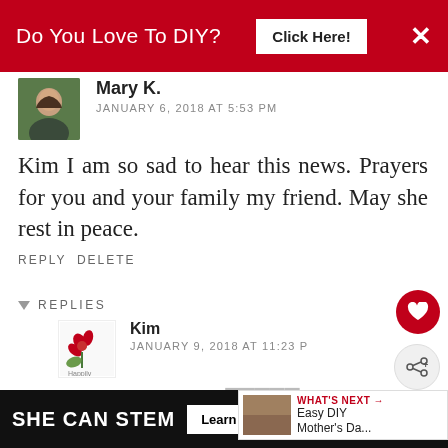Do You Love To DIY?  Click Here!  ×
Mary K.
JANUARY 6, 2018 AT 5:53 PM
Kim I am so sad to hear this news. Prayers for you and your family my friend. May she rest in peace.
REPLY  DELETE
REPLIES
Kim
JANUARY 9, 2018 AT 11:23 P
Mary, thank you so much, my friend. It means a lot...
[Figure (other): WHAT'S NEXT arrow overlay with thumbnail image and text: Easy DIY Mother's Da...]
SHE CAN STEM  Learn More